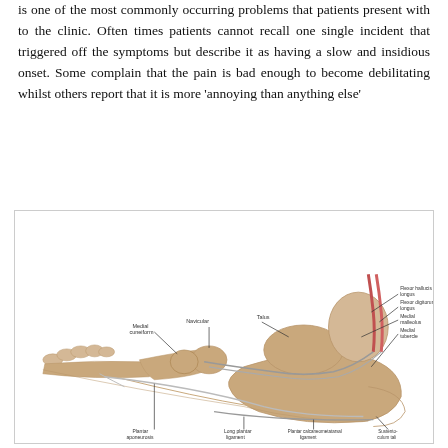is one of the most commonly occurring problems that patients present with to the clinic. Often times patients cannot recall one single incident that triggered off the symptoms but describe it as having a slow and insidious onset. Some complain that the pain is bad enough to become debilitating whilst others report that it is more 'annoying than anything else'
[Figure (illustration): Anatomical illustration of the foot and ankle showing lateral view of bones, tendons and ligaments. Labels include: Navicular, Talus, Medial cuneiform, Flexor hallucis longus, Flexor digitorum longus, Medial malleolus, Medial tubercle, Plantar aponeurosis, Long plantar ligament, Plantar calcaneometatarsal ligament, Sustentaculum tali]